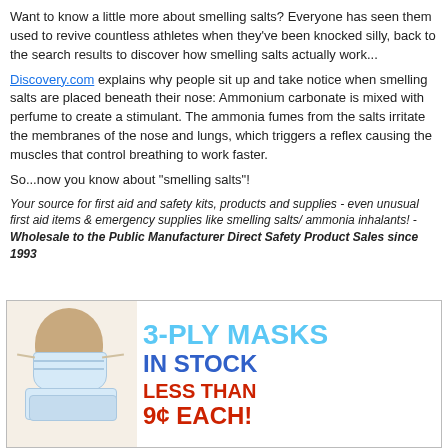Want to know a little more about smelling salts? Everyone has seen them used to revive countless athletes when they've been knocked silly, back to the search results to discover how smelling salts actually work...
Discovery.com explains why people sit up and take notice when smelling salts are placed beneath their nose: Ammonium carbonate is mixed with perfume to create a stimulant. The ammonia fumes from the salts irritate the membranes of the nose and lungs, which triggers a reflex causing the muscles that control breathing to work faster.
So...now you know about "smelling salts"!
Your source for first aid and safety kits, products and supplies - even unusual first aid items & emergency supplies like smelling salts/ ammonia inhalants! - Wholesale to the Public Manufacturer Direct Safety Product Sales since 1993
[Figure (illustration): Advertisement banner for 3-ply masks showing a mannequin head wearing a surgical mask with text: '3-PLY MASKS IN STOCK LESS THAN 9¢ EACH!']